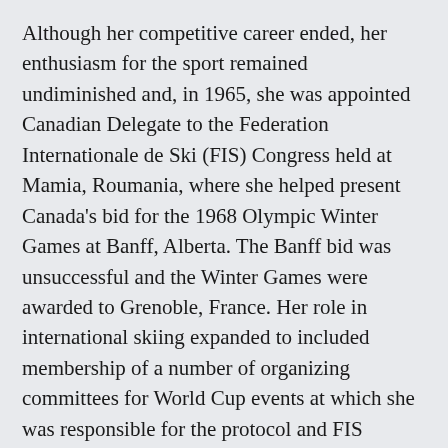Although her competitive career ended, her enthusiasm for the sport remained undiminished and, in 1965, she was appointed Canadian Delegate to the Federation Internationale de Ski (FIS) Congress held at Mamia, Roumania, where she helped present Canada's bid for the 1968 Olympic Winter Games at Banff, Alberta. The Banff bid was unsuccessful and the Winter Games were awarded to Grenoble, France. Her role in international skiing expanded to included membership of a number of organizing committees for World Cup events at which she was responsible for the protocol and FIS Regulatory aspects as well as FIS competitor standings.